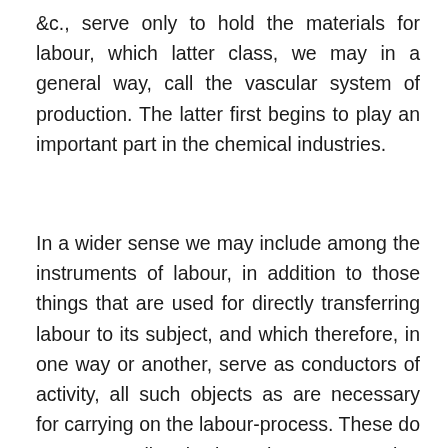&c., serve only to hold the materials for labour, which latter class, we may in a general way, call the vascular system of production. The latter first begins to play an important part in the chemical industries.
In a wider sense we may include among the instruments of labour, in addition to those things that are used for directly transferring labour to its subject, and which therefore, in one way or another, serve as conductors of activity, all such objects as are necessary for carrying on the labour-process. These do not enter directly into the process, but without them it is either impossible for it to take place at all, or possible